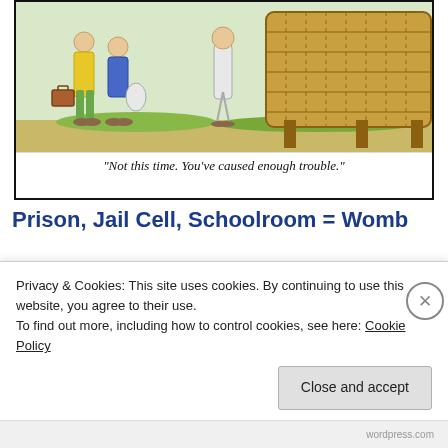[Figure (illustration): Cartoon illustration showing two figures carrying luggage on the left side and a figure in a white robe standing near a large wicker/straw ark-like structure on the right. Scene appears to be outdoors with grass.]
"Not this time. You've caused enough trouble."
Prison, Jail Cell, Schoolroom = Womb
[Figure (photo): Partial photo of a person, showing dark hair and face, cropped to show only upper portion.]
In the category of womb symbols that are
Privacy & Cookies: This site uses cookies. By continuing to use this website, you agree to their use.
To find out more, including how to control cookies, see here: Cookie Policy
Close and accept